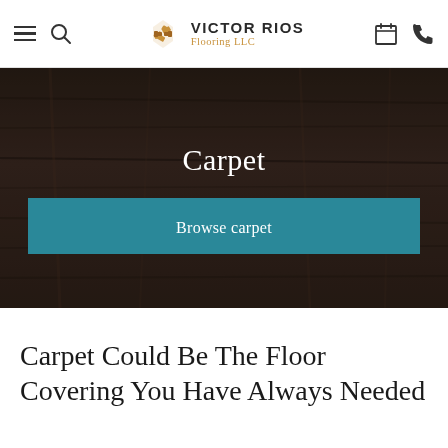Victor Rios Flooring LLC
[Figure (screenshot): Website hero banner showing dark wood/carpet texture background with the word 'Carpet' in white serif text centered, and a teal 'Browse carpet' button below]
Carpet Could Be The Floor Covering You Have Always Needed